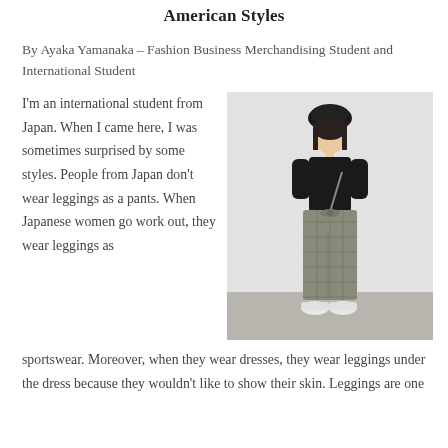American Styles
By Ayaka Yamanaka – Fashion Business Merchandising Student and International Student
I'm an international student from Japan. When I came here, I was sometimes surprised by some styles. People from Japan don't wear leggings as a pants. When Japanese women go work out, they wear leggings as sportswear. Moreover, when they wear dresses, they wear leggings under the dress because they wouldn't like to show their skin. Leggings are one
[Figure (photo): A young Japanese woman wearing a black long-sleeve top, gray wide-leg plaid trousers with a bow tie at the waist, a small furry bag, white sneakers, and a black beret hat, standing against a light wall.]